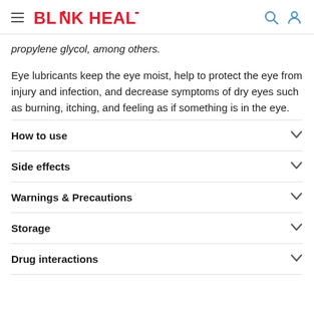BLINK HEALTH
propylene glycol, among others.
Eye lubricants keep the eye moist, help to protect the eye from injury and infection, and decrease symptoms of dry eyes such as burning, itching, and feeling as if something is in the eye.
How to use
Side effects
Warnings & Precautions
Storage
Drug interactions